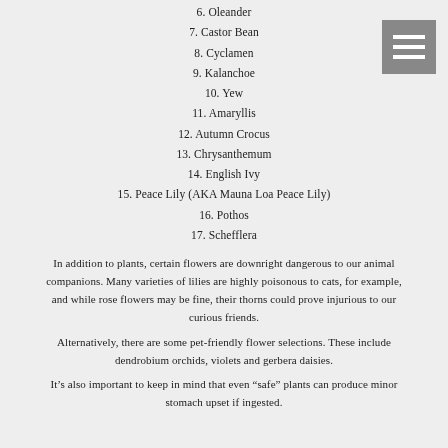6. Oleander
7. Castor Bean
8. Cyclamen
9. Kalanchoe
10. Yew
11. Amaryllis
12. Autumn Crocus
13. Chrysanthemum
14. English Ivy
15. Peace Lily (AKA Mauna Loa Peace Lily)
16. Pothos
17. Schefflera
In addition to plants, certain flowers are downright dangerous to our animal companions. Many varieties of lilies are highly poisonous to cats, for example, and while rose flowers may be fine, their thorns could prove injurious to our curious friends.
Alternatively, there are some pet-friendly flower selections. These include dendrobium orchids, violets and gerbera daisies.
It's also important to keep in mind that even “safe” plants can produce minor stomach upset if ingested.